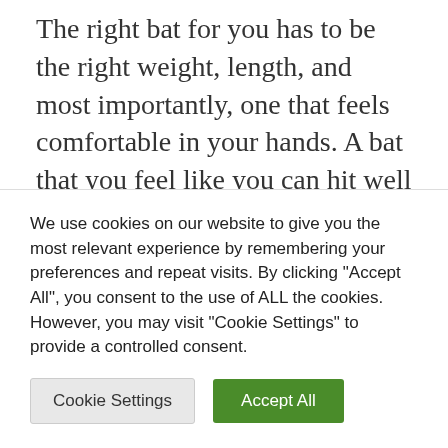The right bat for you has to be the right weight, length, and most importantly, one that feels comfortable in your hands. A bat that you feel like you can hit well with is the most important factor in your game. If you like the bat you are using it will affect your confidence which will affect your game. Easton is a brand that has quickly become known for its high quality and innovative
We use cookies on our website to give you the most relevant experience by remembering your preferences and repeat visits. By clicking "Accept All", you consent to the use of ALL the cookies. However, you may visit "Cookie Settings" to provide a controlled consent.